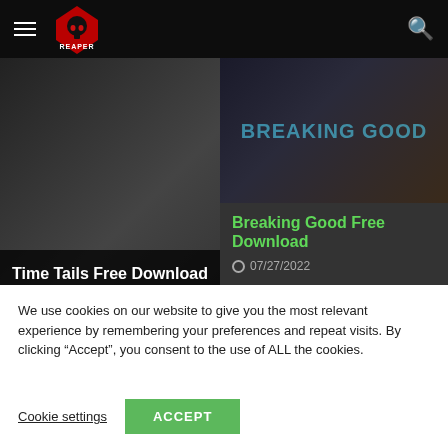[Figure (logo): Reaper website logo with red geometric skull icon and hamburger menu, search icon on right]
Time Tails Free Download
08/10/2021
Breaking Good Free Download
07/27/2022
Leave a Reply
We use cookies on our website to give you the most relevant experience by remembering your preferences and repeat visits. By clicking “Accept”, you consent to the use of ALL the cookies.
Cookie settings
ACCEPT